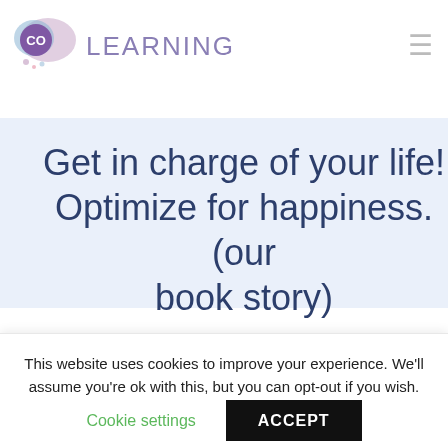[Figure (logo): Co-Learning logo with overlapping blue and pink speech bubble circles and CO text inside purple circle, followed by LEARNING text]
Get in charge of your life! Optimize for happiness. (our book story)
Written by Jurgen De Smet, in category Agile & Scrum
This website uses cookies to improve your experience. We'll assume you're ok with this, but you can opt-out if you wish.
Cookie settings  ACCEPT